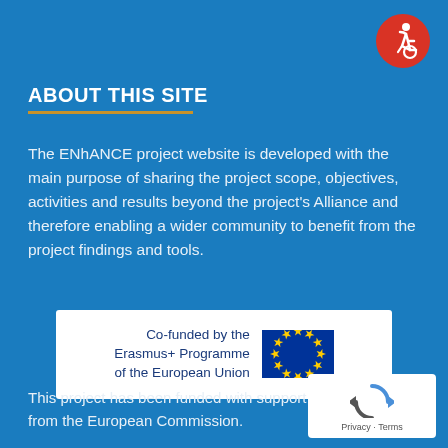[Figure (logo): Accessibility icon — white wheelchair user on red circle background]
ABOUT THIS SITE
The ENhANCE project website is developed with the main purpose of sharing the project scope, objectives, activities and results beyond the project's Alliance and therefore enabling a wider community to benefit from the project findings and tools.
[Figure (logo): Co-funded by the Erasmus+ Programme of the European Union logo with EU flag (blue background with circle of gold stars)]
This project has been funded with support from the European Commission.
[Figure (logo): reCAPTCHA / Privacy - Terms badge]